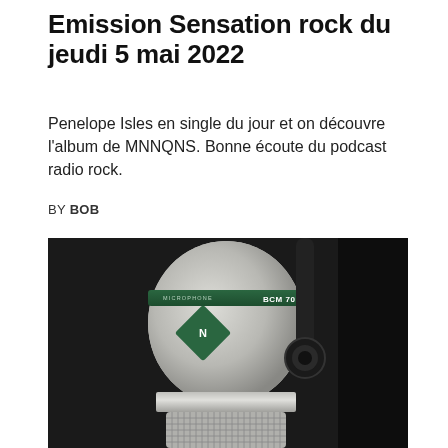Emission Sensation rock du jeudi 5 mai 2022
Penelope Isles en single du jour et on découvre l’album de MNNQNS. Bonne écoute du podcast radio rock.
BY BOB
[Figure (photo): Close-up photo of a professional studio microphone (Neumann BCM 70 style), silver/grey body with a green label band and Neumann diamond logo, mounted on a black shock mount, against a dark background.]